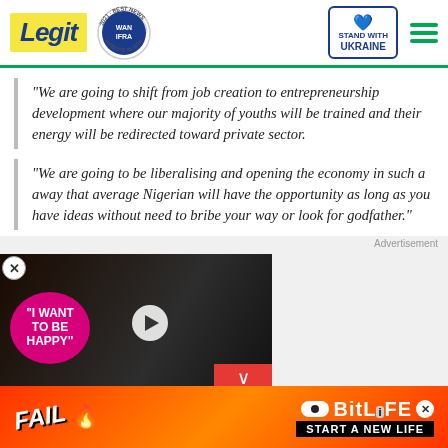Legit — BEST NEWS WEBSITE IN AFRICA 2021 WAN IFRA — STAND WITH UKRAINE
"We are going to shift from job creation to entrepreneurship development where our majority of youths will be trained and their energy will be redirected toward private sector.
"We are going to be liberalising and opening the economy in such a away that average Nigerian will have the opportunity as long as you have ideas without need to bribe your way or look for godfather."
[Figure (screenshot): Advertisement video thumbnail showing a couple with overlay text 'I WANT TO BE HAPPY' in pink and a play button]
[Figure (advertisement): Bottom banner advertisement for BitLife game with 'FAIL' text and 'START A NEW LIFE' tagline on orange/red background]